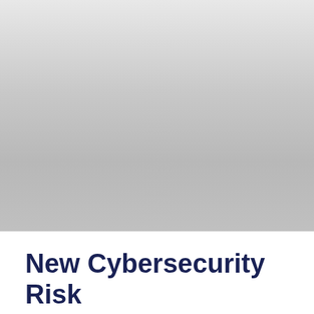[Figure (photo): A large photograph occupying the upper approximately three-quarters of the page, showing a gradient gray/silver image (content not fully visible, appears to be a faded or overexposed photograph).]
New Cybersecurity Risk Management Rules